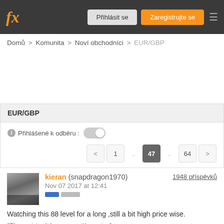fx | Přihlásit se | Zaregistrujte se
Domů > Komunita > Noví obchodníci > EUR/GBP
EUR/GBP
Přihlášené k odběru :
< 1 ... 47 .. 64 >
kieran (snapdragon1970) Nov 07 2017 at 12:41 1948 příspěvků
Watching this 88 level for a long ,still a bit high price wise.
"They mistook leverage with genius".